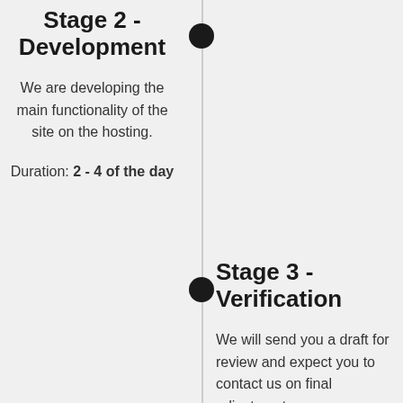Stage 2 - Development
We are developing the main functionality of the site on the hosting.
Duration: 2 - 4 of the day
Stage 3 - Verification
We will send you a draft for review and expect you to contact us on final adjustments.